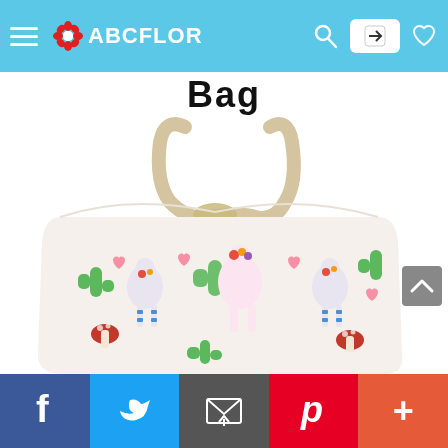ABCFLOR
Bag
[Figure (photo): A white canvas tote bag with colorful llama, cactus, and floral print pattern, with a thick rope handle. The bag features pink hearts, green cacti, blue and white llamas, and red floral decorations on a white background.]
Facebook | Twitter | Email | Pinterest | More